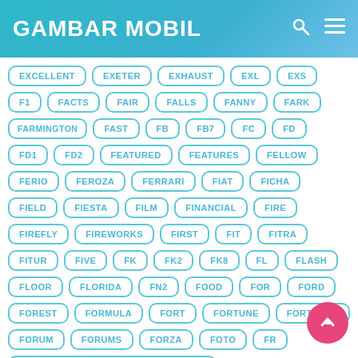GAMBAR MOBIL
EXCELLENT
EXETER
EXHAUST
EXL
EXS
F1
FACTS
FAIR
FALLS
FANNY
FARK
FARMINGTON
FAST
FB
FB7
FC
FD
FD1
FD2
FEATURED
FEATURES
FELLOW
FERIO
FEROZA
FERRARI
FIAT
FICHA
FIELD
FIESTA
FILM
FINANCIAL
FIRE
FIREFLY
FIREWORKS
FIRST
FIT
FITRA
FITUR
FIVE
FK
FK2
FK8
FL
FLASH
FLOOR
FLORIDA
FN2
FOOD
FOR
FORD
FOREST
FORMULA
FORT
FORTUNE
FORTUNER
FORUM
FORUMS
FORZA
FOTO
FR
FR LEGENDS MOD APK MOBIL LAMBORGHINI
FR LEGENDS MOD APK MOBIL PICK UP
FR LEGENDS MOD APK MOBILE
FRAMEWORK
FRANCISCO